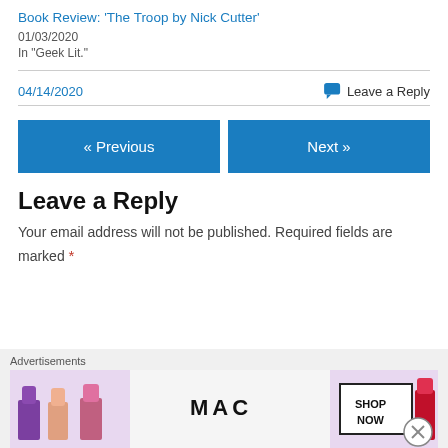Book Review: 'The Troop by Nick Cutter'
01/03/2020
In "Geek Lit."
04/14/2020
Leave a Reply
« Previous
Next »
Leave a Reply
Your email address will not be published. Required fields are marked *
Advertisements